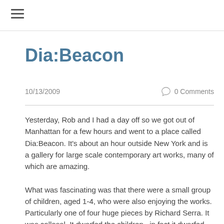≡
Dia:Beacon
10/13/2009
0 Comments
Yesterday, Rob and I had a day off so we got out of Manhattan for a few hours and went to a place called Dia:Beacon. It's about an hour outside New York and is a gallery for large scale contemporary art works, many of which are amazing. What was fascinating was that there were a small group of children, aged 1-4, who were also enjoying the works. Particularly one of four huge pieces by Richard Serra. It was collosal. It dwarfed the children...in fact it dwarfed everything. It was a huge piece of rusted metal wall. It was dark and shadowy yet the children were happily enjoying the space. Made me think about conventional